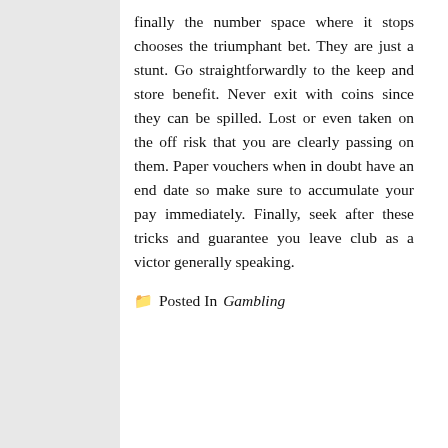finally the number space where it stops chooses the triumphant bet. They are just a stunt. Go straightforwardly to the keep and store benefit. Never exit with coins since they can be spilled. Lost or even taken on the off risk that you are clearly passing on them. Paper vouchers when in doubt have an end date so make sure to accumulate your pay immediately. Finally, seek after these tricks and guarantee you leave club as a victor generally speaking.
Posted In Gambling